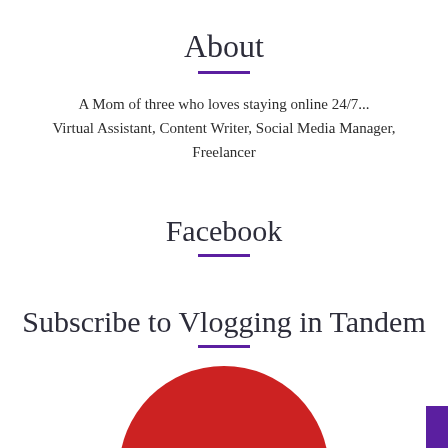About
A Mom of three who loves staying online 24/7...
Virtual Assistant, Content Writer, Social Media Manager, Freelancer
Facebook
Subscribe to Vlogging in Tandem
[Figure (logo): YouTube logo circle — red circle with 'You' text in white, partially cropped at bottom of page]